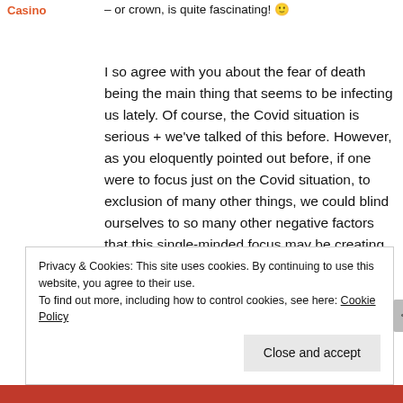Casino
– or crown, is quite fascinating! 🙂
I so agree with you about the fear of death being the main thing that seems to be infecting us lately. Of course, the Covid situation is serious + we've talked of this before. However, as you eloquently pointed out before, if one were to focus just on the Covid situation, to exclusion of many other things, we could blind ourselves to so many other negative factors that this single-minded focus may be creating.
Privacy & Cookies: This site uses cookies. By continuing to use this website, you agree to their use.
To find out more, including how to control cookies, see here: Cookie Policy
Close and accept